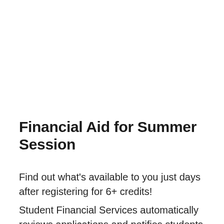Financial Aid for Summer Session
Find out what's available to you just days after registering for 6+ credits!
Student Financial Services automatically reviews applications and notifies students of aid availability within a few